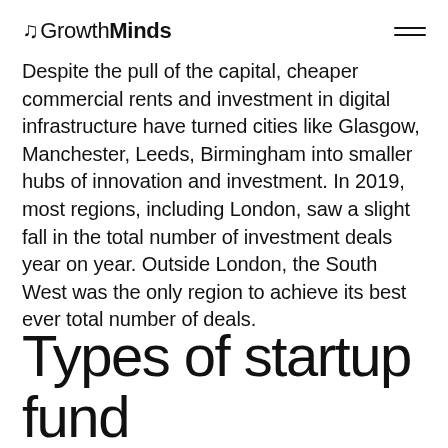GrowthMinds
Despite the pull of the capital, cheaper commercial rents and investment in digital infrastructure have turned cities like Glasgow, Manchester, Leeds, Birmingham into smaller hubs of innovation and investment. In 2019, most regions, including London, saw a slight fall in the total number of investment deals year on year. Outside London, the South West was the only region to achieve its best ever total number of deals.
Types of startup fund